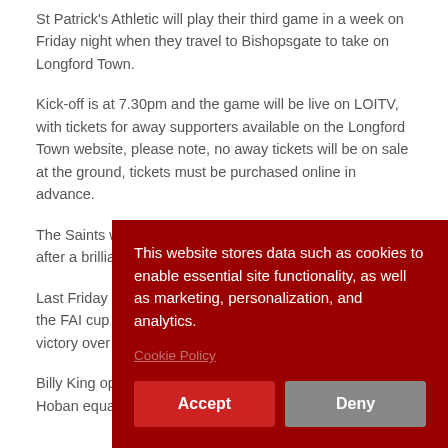St Patrick's Athletic will play their third game in a week on Friday night when they travel to Bishopsgate to take on Longford Town.
Kick-off is at 7.30pm and the game will be live on LOITV, with tickets for away supporters available on the Longford Town website, please note, no away tickets will be on sale at the ground, tickets must be purchased online in advance.
The Saints w... after a brillia...
Last Friday ... the FAI cup ... victory over...
Billy King op... Hoban equa...
This website stores data such as cookies to enable essential site functionality, as well as marketing, personalization, and analytics.
Cookie Policy